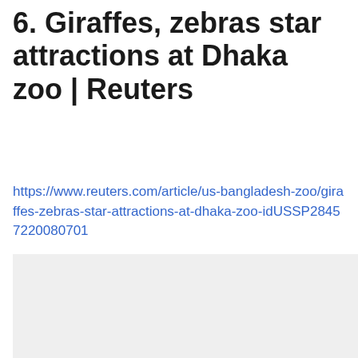6. Giraffes, zebras star attractions at Dhaka zoo | Reuters
https://www.reuters.com/article/us-bangladesh-zoo/giraffes-zebras-star-attractions-at-dhaka-zoo-idUSSP28457220080701
[Figure (photo): Gray/light background placeholder image area]